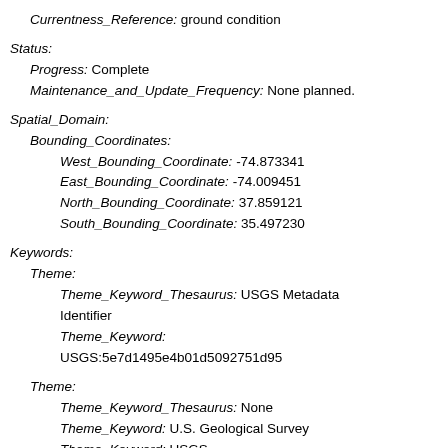Currentness_Reference: ground condition
Status:
Progress: Complete
Maintenance_and_Update_Frequency: None planned.
Spatial_Domain:
Bounding_Coordinates:
West_Bounding_Coordinate: -74.873341
East_Bounding_Coordinate: -74.009451
North_Bounding_Coordinate: 37.859121
South_Bounding_Coordinate: 35.497230
Keywords:
Theme:
Theme_Keyword_Thesaurus: USGS Metadata Identifier
Theme_Keyword:
USGS:5e7d1495e4b01d5092751d95
Theme:
Theme_Keyword_Thesaurus: None
Theme_Keyword: U.S. Geological Survey
Theme_Keyword: USGS
Theme_Keyword: Woods Hole Coastal and Marine